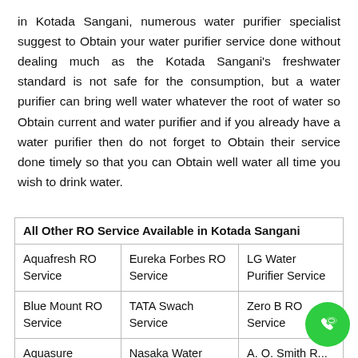in Kotada Sangani, numerous water purifier specialist suggest to Obtain your water purifier service done without dealing much as the Kotada Sangani's freshwater standard is not safe for the consumption, but a water purifier can bring well water whatever the root of water so Obtain current and water purifier and if you already have a water purifier then do not forget to Obtain their service done timely so that you can Obtain well water all time you wish to drink water.
| All Other RO Service Available in Kotada Sangani |
| --- |
| Aquafresh RO Service | Eureka Forbes RO Service | LG Water Purifier Service |
| Blue Mount RO Service | TATA Swach Service | Zero B RO Service |
| Aquasure Service | Nasaka Water Purifier Service | A. O. Smith R... Service |